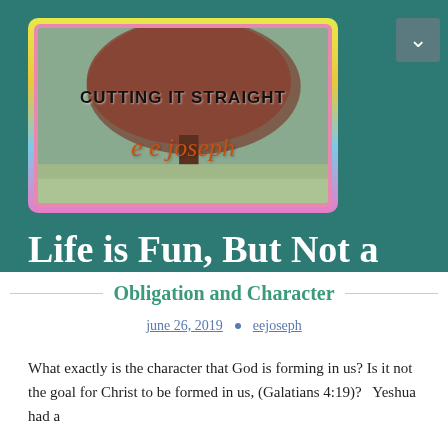[Figure (logo): Cutting It Straight blog logo with tree background and author name 'e e joseph']
Life is Fun, But Not a Joke
Obligation and Character
june 26, 2019 • eejoseph
What exactly is the character that God is forming in us? Is it not the goal for Christ to be formed in us, (Galatians 4:19)?  Yeshua had a